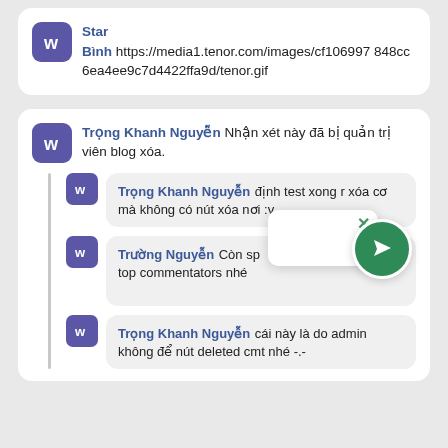[Figure (screenshot): A social media comment card showing username 'Star Bình' with a W avatar icon and a URL to a tenor GIF image.]
[Figure (screenshot): A social media comment thread showing Trọng Khanh Nguyễn's comment about a deleted blog comment, with nested replies from Trọng Khanh Nguyễn and Trường Nguyễn, plus a floating popup with an X and a green send FAB button.]